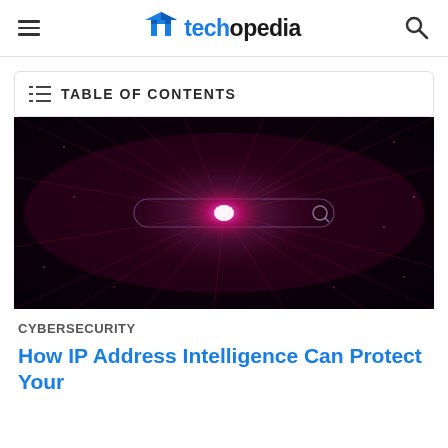techopedia — navigation header with hamburger menu and search icon
TABLE OF CONTENTS
[Figure (photo): Cybersecurity themed image: dark background with glowing red and magenta light burst emanating from a search bar interface, with network/circuit light trails spreading outward]
CYBERSECURITY
How IP Address Intelligence Can Protect Your